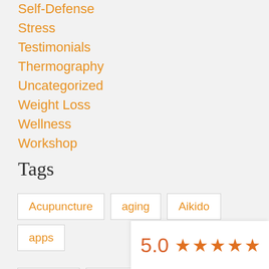Self-Defense
Stress
Testimonials
Thermography
Uncategorized
Weight Loss
Wellness
Workshop
Tags
Acupuncture
aging
Aikido
apps
cooking
Cramps
deto
Digestion
eating healthy
5.0 ★★★★★